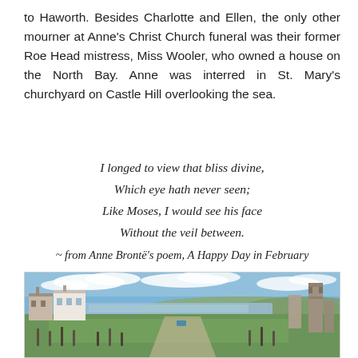to Haworth. Besides Charlotte and Ellen, the only other mourner at Anne's Christ Church funeral was their former Roe Head mistress, Miss Wooler, who owned a house on the North Bay. Anne was interred in St. Mary's churchyard on Castle Hill overlooking the sea.
I longed to view that bliss divine,
Which eye hath never seen;
Like Moses, I would see his face
Without the veil between.
~ from Anne Brontë's poem, A Happy Day in February
[Figure (photo): Photograph of St. Mary's churchyard on Castle Hill, Scarborough, overlooking the bay. Green grass with gravestones in the foreground, old stone ruins on the right, white and red brick buildings on the left, and the bay with hills in the background under a partly cloudy sky.]